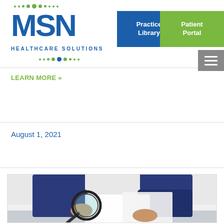MSN Healthcare Solutions — Practice Library | Patient Portal
LEARN MORE »
August 1, 2021
[Figure (photo): Person in a navy blue suit holding papers and examining them with a magnifying glass, seated at a desk, white background]